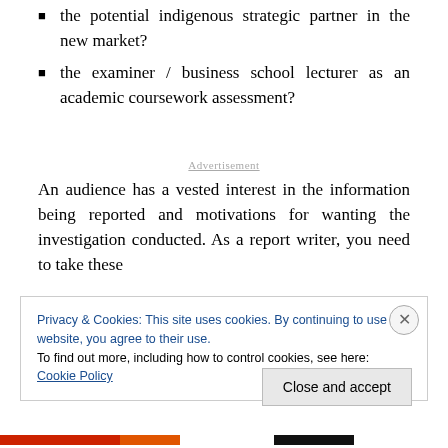the potential indigenous strategic partner in the new market?
the examiner / business school lecturer as an academic coursework assessment?
Advertisement
An audience has a vested interest in the information being reported and motivations for wanting the investigation conducted. As a report writer, you need to take these
Privacy & Cookies: This site uses cookies. By continuing to use this website, you agree to their use.
To find out more, including how to control cookies, see here: Cookie Policy